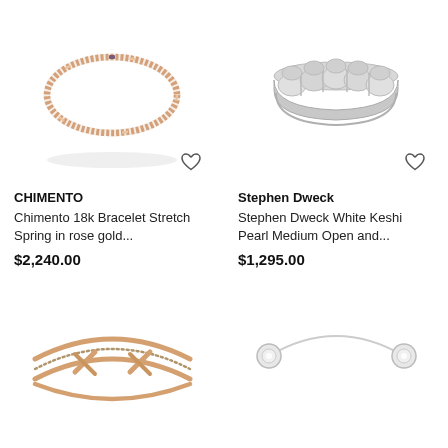[Figure (photo): Rose gold stretch spring bracelet by Chimento, oval shape with fine texture]
[Figure (photo): Stephen Dweck White Keshi Pearl ring, medium open style, silver colored with scalloped edge]
CHIMENTO
Chimento 18k Bracelet Stretch Spring in rose gold...
$2,240.00
Stephen Dweck
Stephen Dweck White Keshi Pearl Medium Open and...
$1,295.00
[Figure (photo): Rose gold multi-strand crossover bangle bracelet with diamond accents]
[Figure (photo): Delicate silver open cuff ring with two round diamond bezels at the ends]